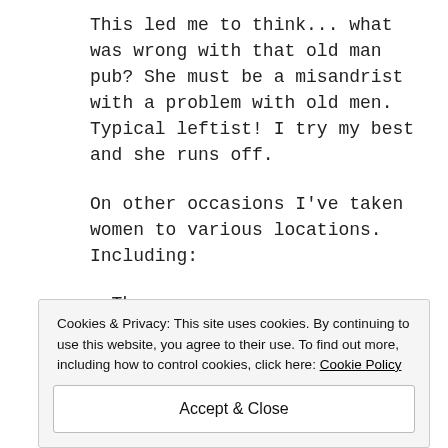This led me to think... what was wrong with that old man pub? She must be a misandrist with a problem with old men. Typical leftist! I try my best and she runs off.
On other occasions I've taken women to various locations. Including:
- The gym
- An abattoir
- Sex museum (which my date, Sandra,
Cookies & Privacy: This site uses cookies. By continuing to use this website, you agree to their use. To find out more, including how to control cookies, click here: Cookie Policy
Accept & Close
- Trip to Blackpool Pleasure Beach to